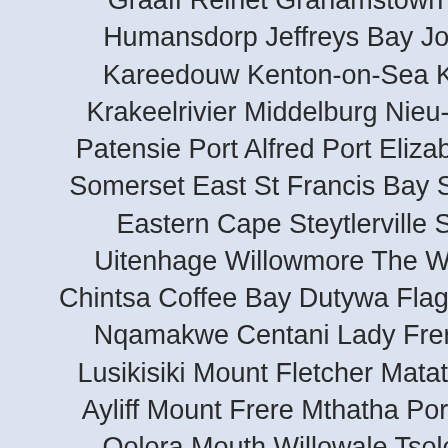Graaff Reinet Grahamstown Hankey Humansdorp Jeffreys Bay Joubertina Kareedouw Kenton-on-Sea Kirkwood Krakeelrivier Middelburg Nieu-Bethesda Patensie Port Alfred Port Elizabeth Salem Somerset East St Francis Bay Steynsburg, Eastern Cape Steytlerville Sunland Uitenhage Willowmore The Wild Coast Chintsa Coffee Bay Dutywa Flagstaff Gcuwa Nqamakwe Centani Lady Frere Libode Lusikisiki Mount Fletcher Matatiele Mount Ayliff Mount Frere Mthatha Port St Johns Qolora Mouth Willowale Tsolo Bizana Qumbu Ngqeleni Arlington, Free State Bethlehem Clarens Clocolan Cornelia Excelsior Ficksburg Fouriesburg Harrismith Hobhouse Kestell Ladybrand Lindley Marquard Memel Paul Roux Petrus Steyn Phuthaditjhaba Reitz Rosendal Senekal Steynsrus